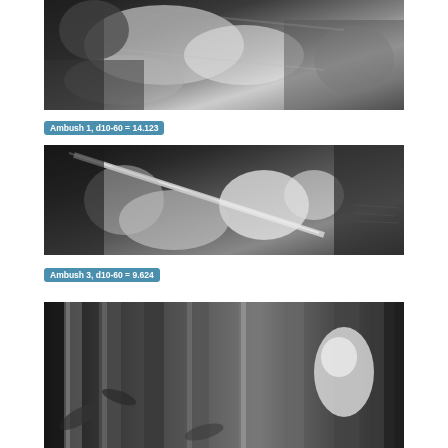[Figure (photo): Grayscale image labeled Ambush 1, showing a close-up of a person's torso/arm region in motion blur, black and white.]
Ambush 1, d10-60 = 14.123
[Figure (photo): Grayscale image labeled Ambush 3, showing a stick or rod being held, with motion blur of figures in a dark scene.]
Ambush 3, d10-60 = 9.624
[Figure (photo): Grayscale image showing a person among bamboo forest, partially obscured by bamboo stalks, motion blur visible.]